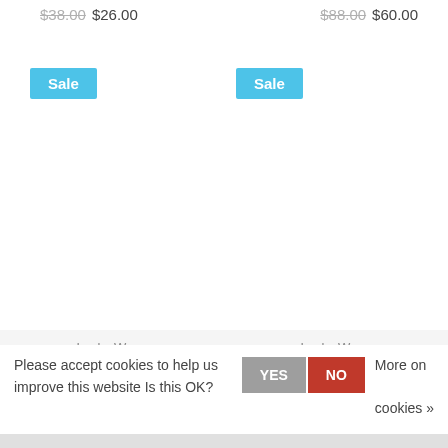$38.00  $26.00   $88.00  $60.00
[Figure (screenshot): Sale badge (blue) on left product]
[Figure (screenshot): Sale badge (blue) on right product]
Lucky Wang
Sarouel Pants Droplets Blk
$38.00  $26.00
Lucky Wang
Sarouel Pants Sienna Multi Dots
$38.00  $26.00
Please accept cookies to help us improve this website Is this OK?
YES  NO  More on cookies »